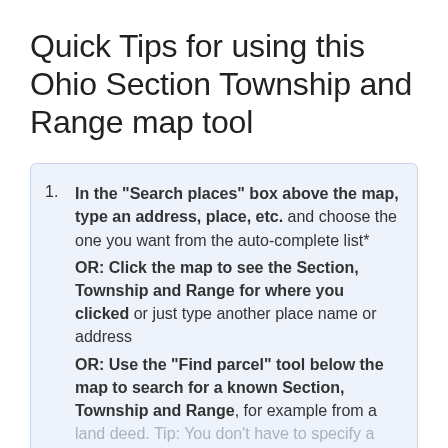Quick Tips for using this Ohio Section Township and Range map tool
In the “Search places” box above the map, type an address, place, etc. and choose the one you want from the auto-complete list* OR: Click the map to see the Section, Township and Range for where you clicked or just type another place name or address OR: Use the “Find parcel” tool below the map to search for a known Section, Township and Range, for example from a land deed. Tip: You don’t have to specify a Section if you only know the Township and